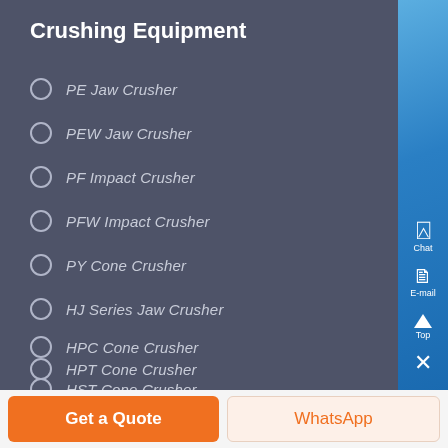Crushing Equipment
PE Jaw Crusher
PEW Jaw Crusher
PF Impact Crusher
PFW Impact Crusher
PY Cone Crusher
HJ Series Jaw Crusher
HPC Cone Crusher
HPT Cone Crusher
HST Cone Crusher